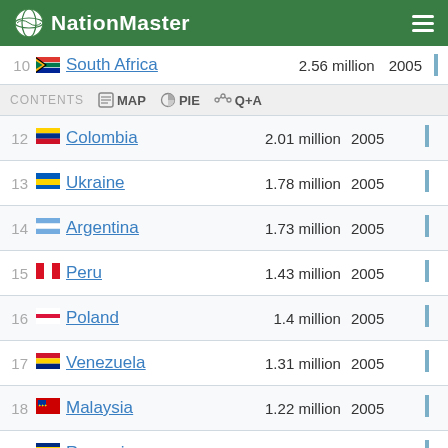NationMaster
| Rank | Country | Value | Year |
| --- | --- | --- | --- |
| 10 | South Africa | 2.56 million | 2005 |
| 12 | Colombia | 2.01 million | 2005 |
| 13 | Ukraine | 1.78 million | 2005 |
| 14 | Argentina | 1.73 million | 2005 |
| 15 | Peru | 1.43 million | 2005 |
| 16 | Poland | 1.4 million | 2005 |
| 17 | Venezuela | 1.31 million | 2005 |
| 18 | Malaysia | 1.22 million | 2005 |
| 19 | Romania | 835,030 | 2005 |
| 20 | Chile | 733,699 | 2005 |